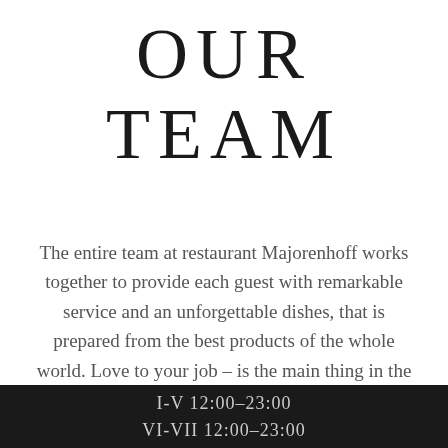OUR TEAM
The entire team at restaurant Majorenhoff works together to provide each guest with remarkable service and an unforgettable dishes, that is prepared from the best products of the whole world. Love to your job – is the main thing in the work of our restaurant.
I-V 12:00–23:00
VI-VII 12:00–23:00